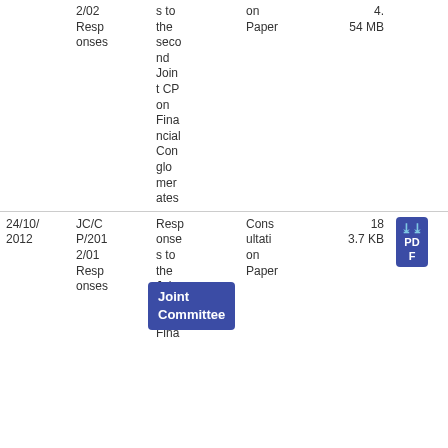| Date | Reference | Title | Organisation | Type | Download |
| --- | --- | --- | --- | --- | --- |
|  | 2/02 Responses | Responses to the second Joint CP on Financial Conglomerates | Consultation Paper | 4.
54 MB |  |
| 24/10/2012 | JC/CP/2012/01 Responses | Responses to the Joint CP on Fina... | Consultation Paper | 18
3.7 KB | PDF |